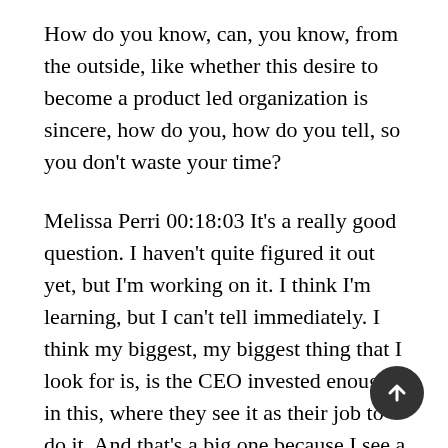How do you know, can, you know, from the outside, like whether this desire to become a product led organization is sincere, how do you, how do you tell, so you don't waste your time?
Melissa Perri 00:18:03 It's a really good question. I haven't quite figured it out yet, but I'm working on it. I think I'm learning, but I can't tell immediately. I think my biggest, my biggest thing that I look for is, is the CEO invested enough in this, where they see it as their job to do it. And that's a big one because I see a lot of CEOs. I talk to CEOs all day and they bring me in and they go, okay, I want this digital transformation, I'm going to do it, but